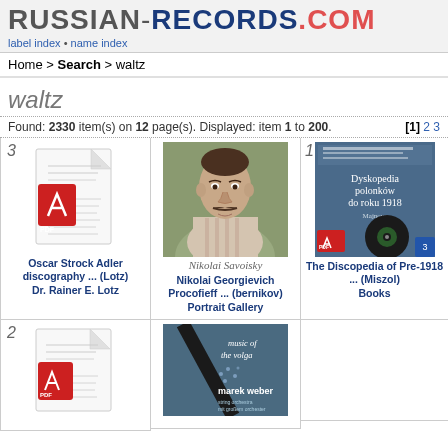RUSSIAN-RECORDS.COM label index • name index
Home > Search > waltz
waltz
Found: 2330 item(s) on 12 page(s). Displayed: item 1 to 200.  [1] 2 3
[Figure (screenshot): PDF document icon with number 3, Oscar Strock Adler discography ... (Lotz) Dr. Rainer E. Lotz]
[Figure (photo): Portrait photo of Nikolai Georgievich Procofieff with signature, Portrait Gallery]
[Figure (screenshot): Book cover: The Discopedia of Pre-1918 ... (Miszol) Books, with PDF icon overlay, numbered 1]
[Figure (screenshot): PDF document icon with number 2, second item in grid]
[Figure (photo): Album cover: music of the volga, marek weber]